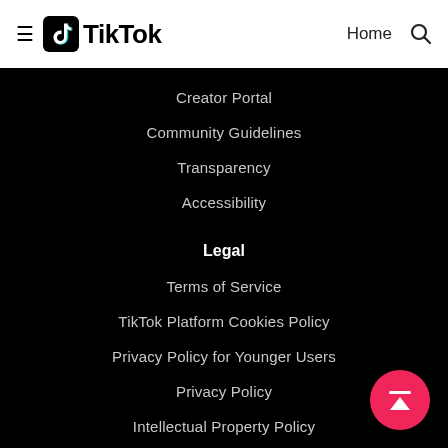TikTok — Home
Creator Portal
Community Guidelines
Transparency
Accessibility
Legal
Terms of Service
TikTok Platform Cookies Policy
Privacy Policy for Younger Users
Privacy Policy
Intellectual Property Policy
Law Enforcement Guidelines